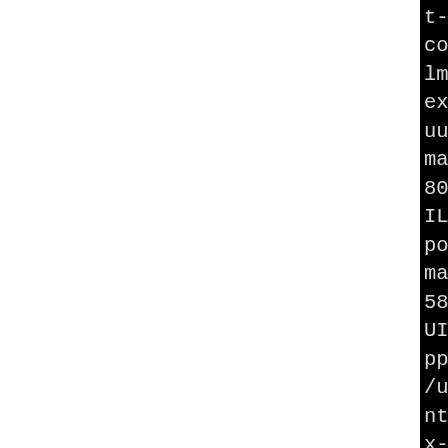t-needed-entries -Wl,-z,re combreloc -o httxt2dbm ht lm -lpcre /usr/lib/libapru expat -lcrypt /usr/lib/lib uuid -lpthread -ldl make[2]: Leaving directory 80372e-b877-4a09-91b4-dafd ILD/httpd-2.2.29/buildmpm- port' make[2]: Entering director 580372e-b877-4a09-91b4-dat UILD/httpd-2.2.29/buildmpm pport' /usr/share/apr/build-1/lib nt --mode=link --tag=CC i4 x-gcc -pthread -O2 -fwrapy rmat -Werror=format-securi 4 -fno-debug-types-section king-assignments -g2 -Wp,- OURCE=2 -fstack-protector -buffer-size=4 -fomit-fram march=i486 -fasynchronous- es -gdwarf-4 -fno-debug-ty -fvar-tracking-assignments